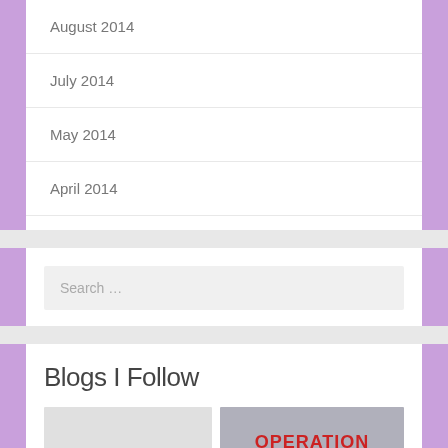August 2014
July 2014
May 2014
April 2014
March 2014
Search …
Blogs I Follow
[Figure (photo): Two blog thumbnail images side by side: left is a light gray placeholder, right shows 'OPERATION' text in red over a blurred background]